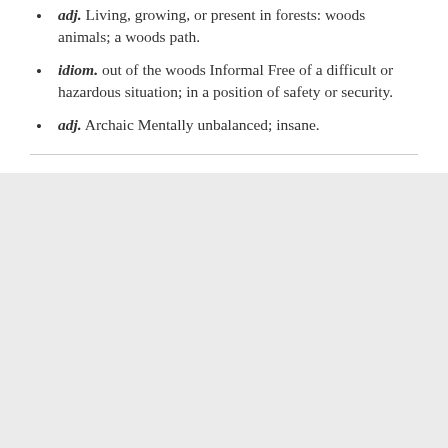adj. Living, growing, or present in forests: woods animals; a woods path.
idiom. out of the woods Informal Free of a difficult or hazardous situation; in a position of safety or security.
adj. Archaic Mentally unbalanced; insane.